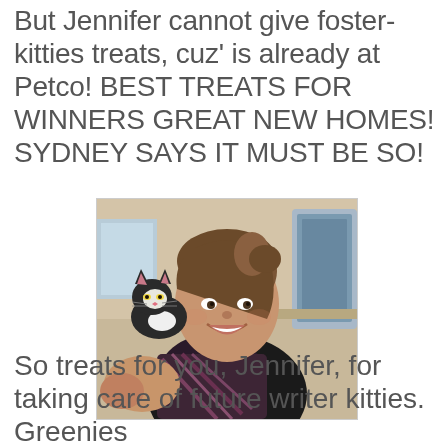But Jennifer cannot give foster-kitties treats, cuz' is already at Petco!  BEST TREATS FOR WINNERS GREAT NEW HOMES!  SYDNEY SAYS IT MUST BE SO!
[Figure (photo): A smiling woman taking a selfie with a black and white kitten perched on her shoulder, in front of a laptop screen]
So treats for you, Jennifer, for taking care of future writer kitties. Greenies